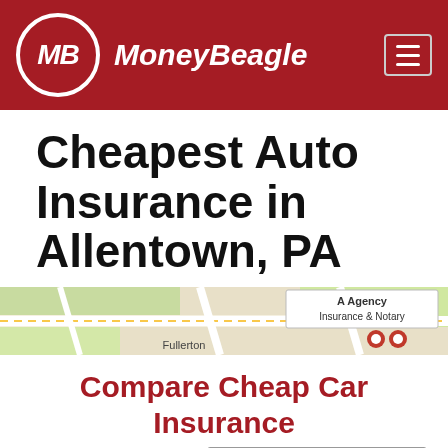[Figure (logo): MoneyBeagle logo with MB initials in a circle on a dark red header bar with hamburger menu icon]
Cheapest Auto Insurance in Allentown, PA
[Figure (map): Google Maps partial screenshot showing Allentown PA area with 'A Agency Insurance & Notary' label and 'Fullerton' location marker]
Compare Cheap Car Insurance Quotes Now
Enter Zip
Get Rates >